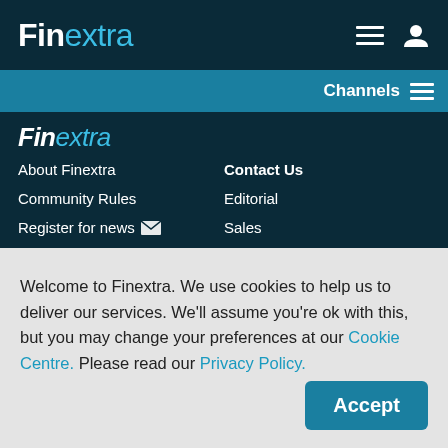Finextra
Channels
[Figure (logo): Finextra logo in footer nav area with italic styling]
About Finextra
Contact Us
Community Rules
Editorial
Register for news
Sales
Welcome to Finextra. We use cookies to help us to deliver our services. We'll assume you're ok with this, but you may change your preferences at our Cookie Centre. Please read our Privacy Policy.
Accept